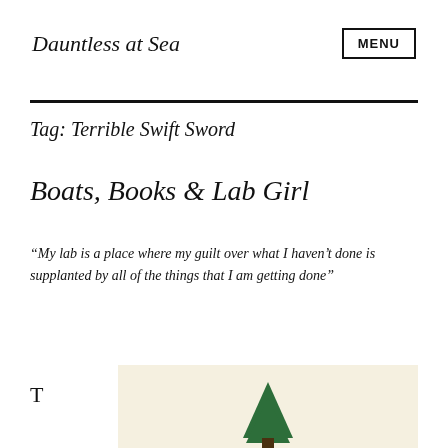Dauntless at Sea
MENU
Tag: Terrible Swift Sword
Boats, Books & Lab Girl
“My lab is a place where my guilt over what I haven’t done is supplanted by all of the things that I am getting done”
T
[Figure (illustration): Book cover image with a green tree on a light tan/cream background, partially visible at the bottom right of the page.]